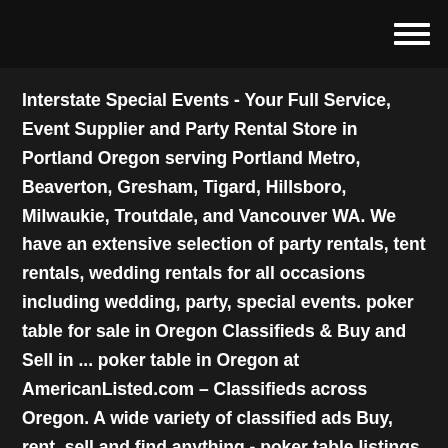Interstate Special Events - Your Full Service, Event Supplier and Party Rental Store in Portland Oregon serving Portland Metro, Beaverton, Gresham, Tigard, Hillsboro, Milwaukie, Troutdale, and Vancouver WA. We have an extensive selection of party rentals, tent rentals, wedding rentals for all occasions including wedding, party, special events. poker table for sale in Oregon Classifieds & Buy and Sell in ... poker table in Oregon at AmericanListed.com – Classifieds across Oregon. A wide variety of classified ads Buy, rent, sell and find anything - poker table listings. GAME POKER CHIPS CASINO WEIGHT Rentals Portland OR, Where to ... Party Rentals, The Party Pros, Specializing in Event Rentals, Party Table & Chair Rentals in the Portland Metro Area Final Table Poker Club – Where you meet Lady Luck We're